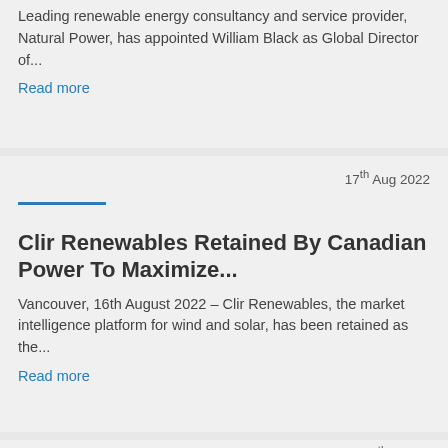Leading renewable energy consultancy and service provider, Natural Power, has appointed William Black as Global Director of...
Read more
17th Aug 2022
Clir Renewables Retained By Canadian Power To Maximize...
Vancouver, 16th August 2022 – Clir Renewables, the market intelligence platform for wind and solar, has been retained as the...
Read more
17th Aug 2022